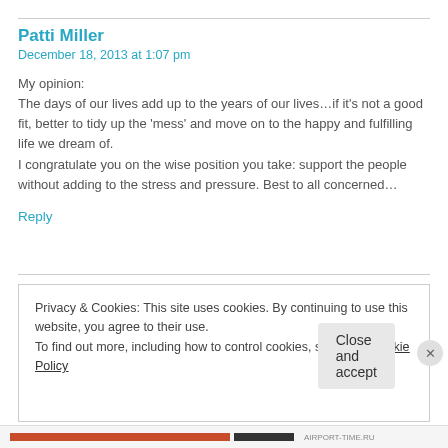Patti Miller
December 18, 2013 at 1:07 pm
My opinion:
The days of our lives add up to the years of our lives…if it's not a good fit, better to tidy up the 'mess' and move on to the happy and fulfilling life we dream of.
I congratulate you on the wise position you take: support the people without adding to the stress and pressure. Best to all concerned…
Reply
Privacy & Cookies: This site uses cookies. By continuing to use this website, you agree to their use.
To find out more, including how to control cookies, see here: Cookie Policy
Close and accept